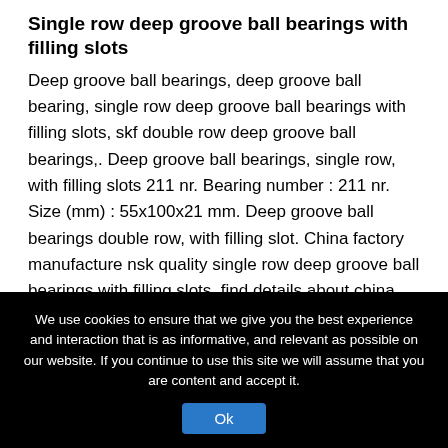Single row deep groove ball bearings with filling slots
Deep groove ball bearings, deep groove ball bearing, single row deep groove ball bearings with filling slots, skf double row deep groove ball bearings,. Deep groove ball bearings, single row, with filling slots 211 nr. Bearing number : 211 nr. Size (mm) : 55x100x21 mm. Deep groove ball bearings double row, with filling slot. China factory manufacture nsk quality single row deep groove ball bearings with filling slots, find details about china full complement deep groove ball. Double wall steel construction
We use cookies to ensure that we give you the best experience and interaction that is as informative, and relevant as possible on our website. If you continue to use this site we will assume that you are content and accept it.